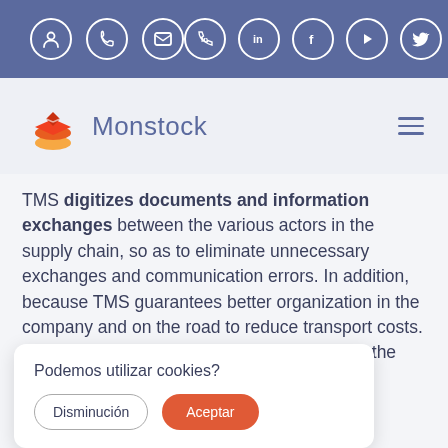[Figure (screenshot): Website top navigation bar with purple/blue background containing user, phone, and email icon circles on the left, and LinkedIn, Facebook, YouTube, Twitter social media icon circles on the right.]
[Figure (logo): Monstock logo: orange/red layered box icon with the word 'Monstock' in blue-grey text, and a hamburger menu icon on the right.]
TMS digitizes documents and information exchanges between the various actors in the supply chain, so as to eliminate unnecessary exchanges and communication errors. In addition, because TMS guarantees better organization in the company and on the road to reduce transport costs. The TMS therefore improves its [text cut off] the same way. [text cut off] ous are [text cut off] e. The company [text cut off] unt other tasks in parallel and thus strengthen its productivity and
[Figure (screenshot): Cookie consent banner with text 'Podemos utilizar cookies?' and two buttons: 'Disminución' (outline) and 'Aceptar' (orange filled).]